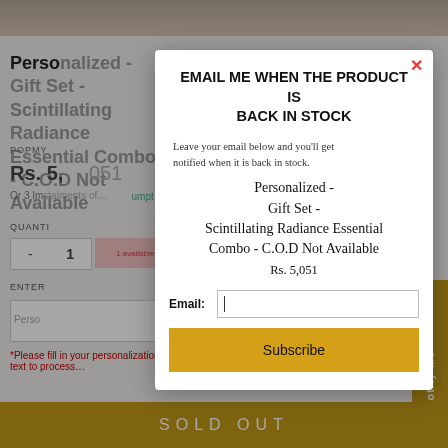[Figure (screenshot): E-commerce product page background showing a personalized gift set product with price Rs. 5,051, quantity selector, personalization text box, and a sold out bar at the bottom.]
EMAIL ME WHEN THE PRODUCT IS BACK IN STOCK
Leave your email below and you'll get notified when it is back in stock.
Personalized - Gift Set - Scintillating Radiance Essential Combo - C.O.D Not Available
Rs. 5,051
Email:
Subscribe